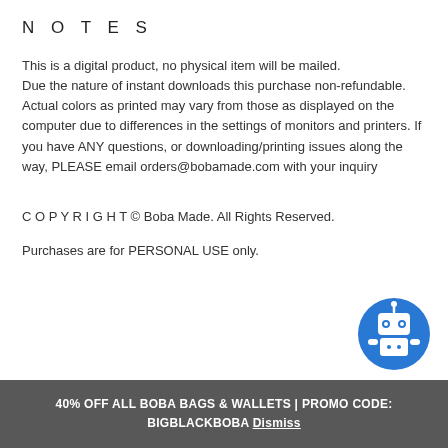NOTES
This is a digital product, no physical item will be mailed.
Due the nature of instant downloads this purchase non-refundable.
Actual colors as printed may vary from those as displayed on the computer due to differences in the settings of monitors and printers. If you have ANY questions, or downloading/printing issues along the way, PLEASE email orders@bobamade.com with your inquiry
COPYRIGHT © Boba Made. All Rights Reserved.
Purchases are for PERSONAL USE only.
[Figure (illustration): Blue circular robot icon with antenna]
40% OFF ALL BOBA BAGS & WALLETS | PROMO CODE: BIGBLACKBOBA Dismiss